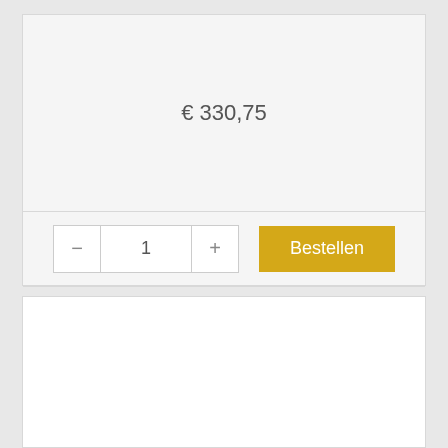€ 330,75
[Figure (screenshot): Quantity selector with minus button, value 1, and plus button, alongside a yellow 'Bestellen' order button]
Bestellen